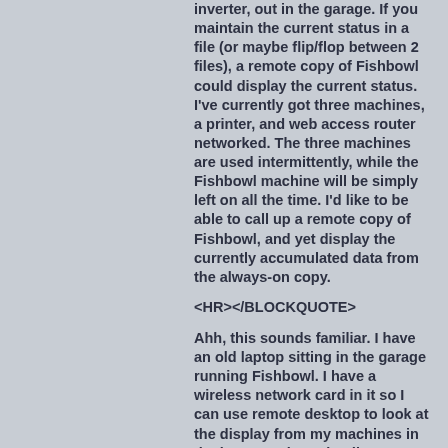inverter, out in the garage. If you maintain the current status in a file (or maybe flip/flop between 2 files), a remote copy of Fishbowl could display the current status. I've currently got three machines, a printer, and web access router networked. The three machines are used intermittently, while the Fishbowl machine will be simply left on all the time. I'd like to be able to call up a remote copy of Fishbowl, and yet display the currently accumulated data from the always-on copy.
<HR></BLOCKQUOTE>
Ahh, this sounds familiar. I have an old laptop sitting in the garage running Fishbowl. I have a wireless network card in it so I can use remote desktop to look at the display from my machines in the house. I share the directory that holds the log file so I